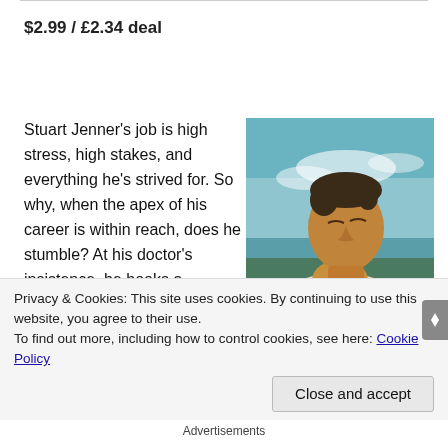$2.99 / £2.34 deal
Stuart Jenner's job is high stress, high stakes, and everything he's strived for. So why, when the apex of his career is within reach, does he stumble? At his doctor's insistence, he books a
[Figure (photo): Photo of a man with short dark hair, looking upward, wearing an open white shirt, outdoors near water with cloudy sky background]
Privacy & Cookies: This site uses cookies. By continuing to use this website, you agree to their use.
To find out more, including how to control cookies, see here: Cookie Policy
Close and accept
Advertisements